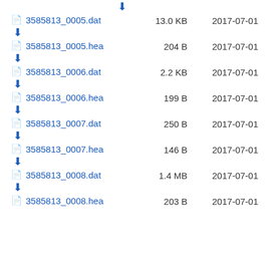3585813_0005.dat  13.0 KB  2017-07-01
3585813_0005.hea  204 B  2017-07-01
3585813_0006.dat  2.2 KB  2017-07-01
3585813_0006.hea  199 B  2017-07-01
3585813_0007.dat  250 B  2017-07-01
3585813_0007.hea  146 B  2017-07-01
3585813_0008.dat  1.4 MB  2017-07-01
3585813_0008.hea  203 B  2017-07-01